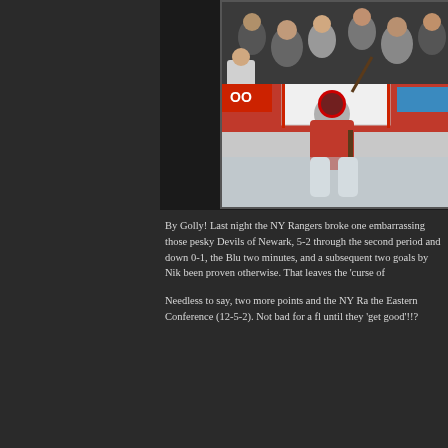[Figure (photo): A New Jersey Devils goalie in red uniform kneeling in front of the net, with NY Rangers fans and players visible in the background. The goalie holds a stick up and appears to be reacting to a play.]
By Golly! Last night the NY Rangers broke one embarrassing those pesky Devils of Newark, 5-2 through the second period and down 0-1, the Blu two minutes, and a subsequent two goals by Nik been proven otherwise. That leaves the 'curse of
Needless to say, two more points and the NY Ra the Eastern Conference (12-5-2). Not bad for a fl until they 'get good'!!?